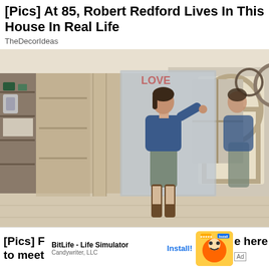[Pics] At 85, Robert Redford Lives In This House In Real Life
TheDecorIdeas
[Figure (photo): Woman in a denim jacket and grey skirt with brown boots shopping in a home decor store, looking at large decorative mirrors. A sale sign reads 'Wall Decor 50%'. Store shelves with various decor items are visible in the background. The woman's reflection is visible in the mirror she is examining.]
[Pics] F BitLife - Life Simulator Candywriter, LLC Install! e here to meet Ad